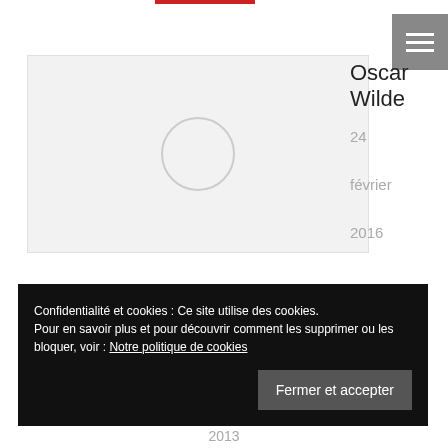[Figure (other): Red horizontal bar at top center, navigation indicator]
[Figure (other): Hamburger menu icon (three white lines on gray background) in top right corner]
[Figure (photo): Large light gray image placeholder with circular loading indicator for Oscar Wilde post]
Oscar Wilde
24 février 2016
[Figure (photo): Thumbnail image of headphones and keyboard in dark tones for Supernatural FX Showreel post]
Supernatural FX Showreel
4 octobre 2013
Confidentialité et cookies : Ce site utilise des cookies.
Pour en savoir plus et pour découvrir comment les supprimer ou les bloquer, voir : Notre politique de cookies
Fermer et accepter
2013